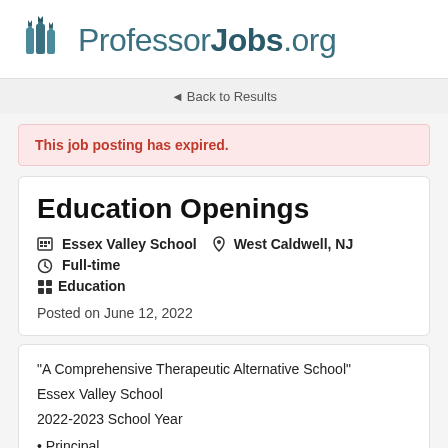ProfessorJobs.org
◄ Back to Results
This job posting has expired.
Education Openings
Essex Valley School  West Caldwell, NJ  Full-time  Education
Posted on June 12, 2022
"A Comprehensive Therapeutic Alternative School"
Essex Valley School
2022-2023 School Year
• Principal